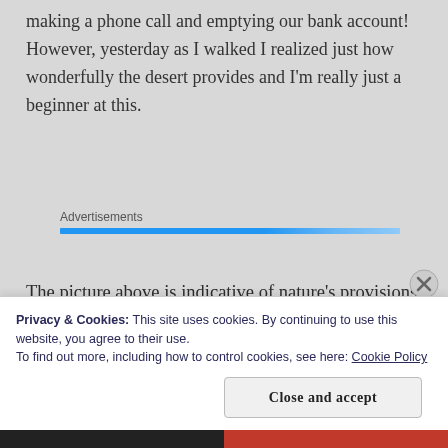making a phone call and emptying our bank account! However, yesterday as I walked I realized just how wonderfully the desert provides and I'm really just a beginner at this.
Advertisements
[Figure (other): Blue advertisement banner bar]
The picture above is indicative of nature's provisions and beauty. Although I understand a saguaro cactus will make you pretty sick, and the ocotillo plant is
Privacy & Cookies: This site uses cookies. By continuing to use this website, you agree to their use.
To find out more, including how to control cookies, see here: Cookie Policy
Close and accept